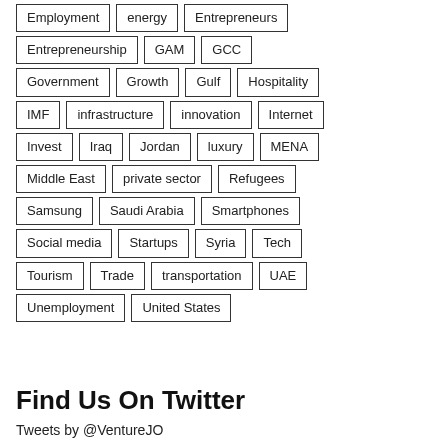Employment
energy
Entrepreneurs
Entrepreneurship
GAM
GCC
Government
Growth
Gulf
Hospitality
IMF
infrastructure
innovation
Internet
Invest
Iraq
Jordan
luxury
MENA
Middle East
private sector
Refugees
Samsung
Saudi Arabia
Smartphones
Social media
Startups
Syria
Tech
Tourism
Trade
transportation
UAE
Unemployment
United States
Find Us On Twitter
Tweets by @VentureJO